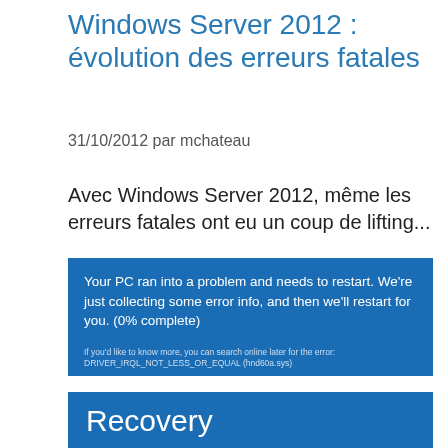Windows Server 2012 : évolution des erreurs fatales
31/10/2012 par mchateau
Avec Windows Server 2012, même les erreurs fatales ont eu un coup de lifting...
[Figure (screenshot): Windows Server 2012 Blue Screen of Death screenshot showing: 'Your PC ran into a problem and needs to restart. We're just collecting some error info, and then we'll restart for you. (0% complete)' with smaller text: 'If you'd like to know more, you can search online later for the error: DRIVER_IRQL_NOT_LESS_OR_EQUAL (hnd60a.sys)']
[Figure (screenshot): Windows Server 2012 Recovery screen showing heading 'Recovery', subtitle 'It looks like Windows didn't load correctly', and body text 'If you'd like to restart and try again, choose "Restart my PC" below. Otherwise, choose "See advanced repair options" for troubleshooting tools and advanced options. If you don't know which option is right for you, contact someone you trust to help with this.']